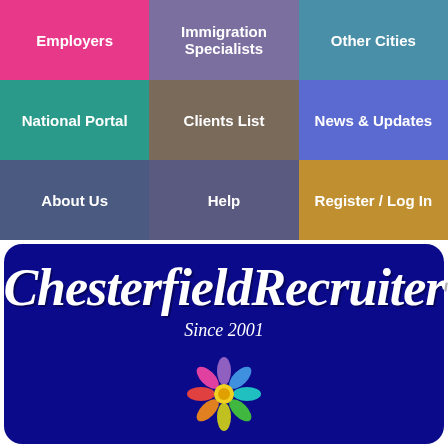[Figure (screenshot): Navigation grid with 9 colored cells: Employers (pink), Immigration Specialists (purple), Other Cities (teal), National Portal (teal-dark), Clients List (brown), News & Updates (blue), About Us (dark blue), Help (dark purple), Register / Log In (gold)]
[Figure (logo): Chesterfield Recruiter logo on dark blue banner background with colorful flower/people icon and 'Since 2001' tagline]
the smart solution for Chesterfield jobs
[Figure (infographic): Social sharing buttons: Facebook, Messenger, Twitter, LinkedIn, Email, Plus]